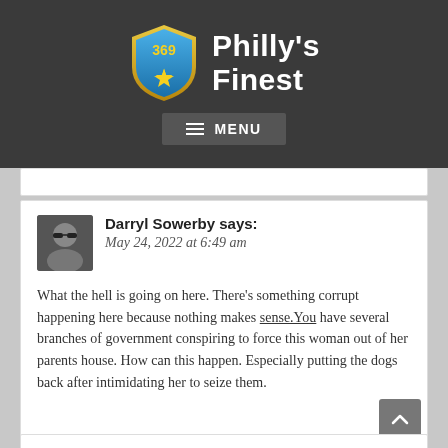[Figure (logo): Philly's Finest website logo with badge number 369 and star, and site title text]
MENU
Darryl Sowerby says:
May 24, 2022 at 6:49 am

What the hell is going on here. There's something corrupt happening here because nothing makes sense.You have several branches of government conspiring to force this woman out of her parents house. How can this happen. Especially putting the dogs back after intimidating her to seize them.